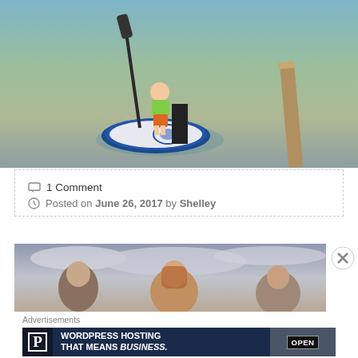[Figure (photo): Aerial/top-down view of a child in colorful swim vest and shorts standing on a blue and white paddleboard in shallow clear water near a wooden dock, with an adult holding them]
1 Comment
Posted on June 26, 2017 by Shelley
[Figure (photo): Photo of women outdoors under overcast sky]
Advertisements
[Figure (other): Advertisement banner: WordPress Hosting That Means Business. with P logo and OPEN sign image]